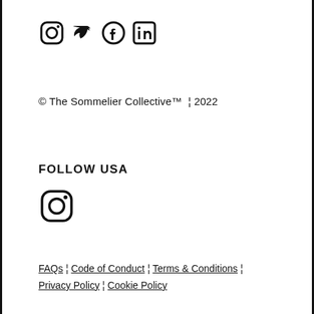[Figure (illustration): Social media icons: Instagram, Twitter, Facebook, LinkedIn]
© The Sommelier Collective™  ¦ 2022
FOLLOW USA
[Figure (illustration): Instagram icon (larger, standalone)]
FAQs ¦ Code of Conduct ¦ Terms & Conditions ¦ Privacy Policy ¦ Cookie Policy